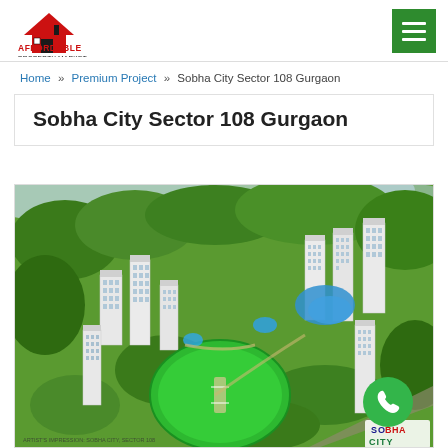[Figure (logo): Affordable Property Market logo with red roof/house icon and red text]
Home » Premium Project » Sobha City Sector 108 Gurgaon
Sobha City Sector 108 Gurgaon
[Figure (photo): Aerial bird's-eye view rendering of Sobha City residential complex in Sector 108 Gurgaon showing multiple high-rise towers surrounded by green trees with a circular cricket/sports ground and blue water feature]